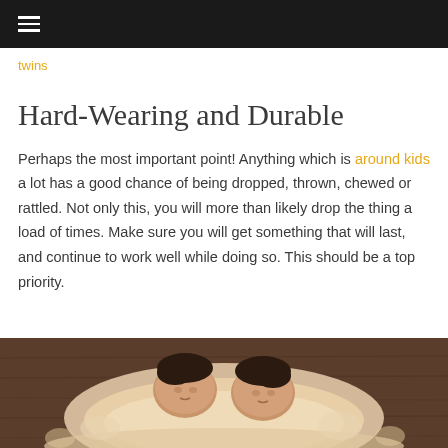☰ (hamburger menu on dark bar)
twins
Hard-Wearing and Durable
Perhaps the most important point! Anything which is around kids a lot has a good chance of being dropped, thrown, chewed or rattled. Not only this, you will more than likely drop the thing a load of times. Make sure you will get something that will last, and continue to work well while doing so. This should be a top priority.
[Figure (photo): Two newborn babies (twins) sleeping together on a fluffy light-colored blanket on a wooden surface]